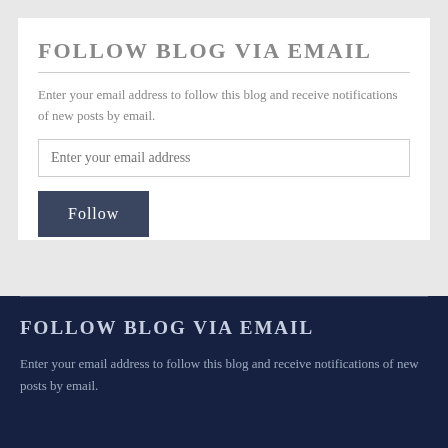FOLLOW BLOG VIA EMAIL
Enter your email address to follow this blog and receive notifications of new posts by email.
FOLLOW BLOG VIA EMAIL
Enter your email address to follow this blog and receive notifications of new posts by email.